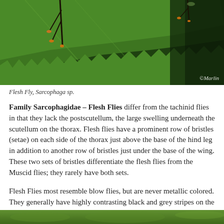[Figure (photo): Photograph of a Flesh Fly (Sarcophaga sp.) on a green leaf with serrated edges. The insect has orange/amber colored legs visible against the green leaf. Watermark reads '©Marlin' in bottom right corner.]
Flesh Fly, Sarcophaga sp.
Family Sarcophagidae – Flesh Flies differ from the tachinid flies in that they lack the postscutellum, the large swelling underneath the scutellum on the thorax. Flesh flies have a prominent row of bristles (setae) on each side of the thorax just above the base of the hind leg in addition to another row of bristles just under the base of the wing. These two sets of bristles differentiate the flesh flies from the Muscid flies; they rarely have both sets.
Flesh Flies most resemble blow flies, but are never metallic colored. They generally have highly contrasting black and grey stripes on the thorax, as well as a checkerboard-like pattern on the abdomen. Flesh flies also always have 4 rather than 2 or 3 bristles atop the thorax.
[Figure (photo): Partial view of another photograph at the bottom of the page showing green vegetation.]